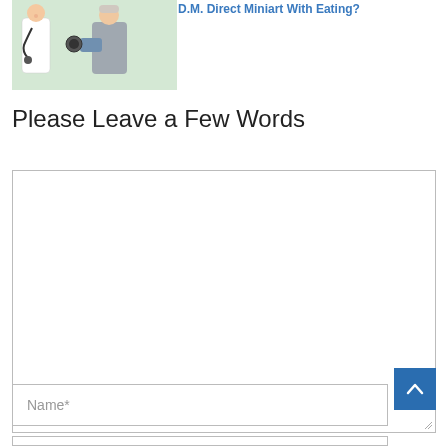[Figure (photo): A nurse or doctor with a stethoscope taking blood pressure of an elderly woman patient]
D.M. Direct Miniart With Eating?
Please Leave a Few Words
[Figure (screenshot): Large empty comment textarea input box]
[Figure (other): Blue scroll-to-top button with upward chevron arrow]
Name*